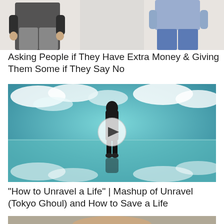[Figure (photo): Top strip showing two people, one on the left in dark hoodie and grey sweatpants, one on the right in grey shirt and blue jeans, with a light background in the center]
Asking People if They Have Extra Money & Giving Them Some if They Say No
[Figure (screenshot): Anime-style illustration of a figure standing between mirrored sky-and-clouds scenes in teal tones, with a circular play button overlay in the center]
"How to Unravel a Life" | Mashup of Unravel (Tokyo Ghoul) and How to Save a Life
[Figure (photo): Bottom strip showing a person's face, partially visible at the bottom of the page]